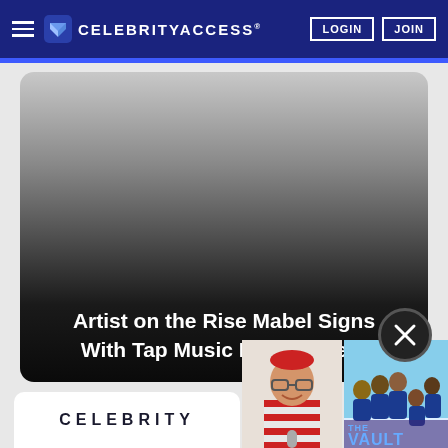CELEBRITYACCESS® | LOGIN | JOIN
[Figure (screenshot): CelebrityAccess website screenshot showing a hero card with gradient background and article title overlay, plus overlapping video thumbnail with a person in red and white striped shirt and a group photo labeled THE VAULT]
Artist on the Rise Mabel Signs With Tap Music Management
CELEBRITY